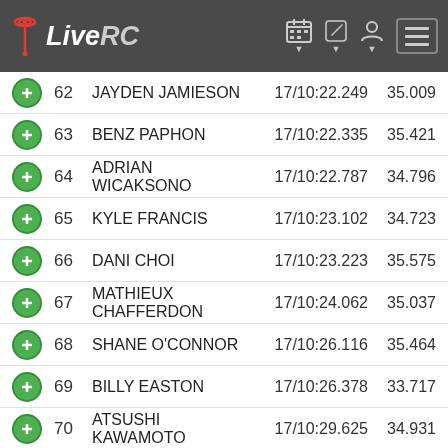LiveRC
|  | Pos | Name | Time | Best |
| --- | --- | --- | --- | --- |
| + | 62 | JAYDEN JAMIESON | 17/10:22.249 | 35.009 |
| + | 63 | BENZ PAPHON | 17/10:22.335 | 35.421 |
| + | 64 | ADRIAN WICAKSONO | 17/10:22.787 | 34.796 |
| + | 65 | KYLE FRANCIS | 17/10:23.102 | 34.723 |
| + | 66 | DANI CHOI | 17/10:23.223 | 35.575 |
| + | 67 | MATHIEUX CHAFFERDON | 17/10:24.062 | 35.037 |
| + | 68 | SHANE O'CONNOR | 17/10:26.116 | 35.464 |
| + | 69 | BILLY EASTON | 17/10:26.378 | 33.717 |
| + | 70 | ATSUSHI KAWAMOTO | 17/10:29.625 | 34.931 |
| + | 71 | ... | 17/10:... | 34.??? |